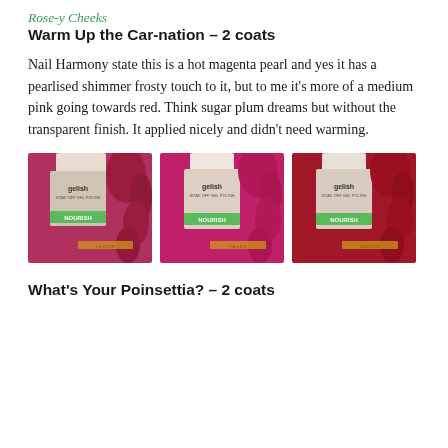Rose-y Cheeks
Warm Up the Car-nation – 2 coats
Nail Harmony state this is a hot magenta pearl and yes it has a pearlised shimmer frosty touch to it, but to me it's more of a medium pink going towards red. Think sugar plum dreams but without the transparent finish. It applied nicely and didn't need warming.
[Figure (photo): Three side-by-side photos of dark magenta/red gel nail polish (Gelish Nourish brand) showing nails painted in Warm Up the Car-nation shade – each photo shows the bottle next to painted manicured nails]
What's Your Poinsettia? – 2 coats